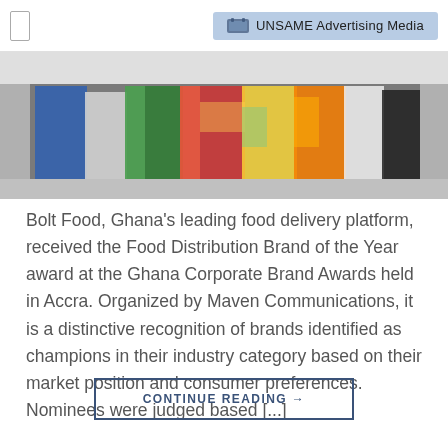UNSAME Advertising Media
[Figure (photo): Group photo of people in colorful traditional African attire at an event, partial view showing torsos/lower bodies]
Bolt Food, Ghana’s leading food delivery platform, received the Food Distribution Brand of the Year award at the Ghana Corporate Brand Awards held in Accra. Organized by Maven Communications, it is a distinctive recognition of brands identified as champions in their industry category based on their market position and consumer preferences. Nominees were judged based [...]
CONTINUE READING →